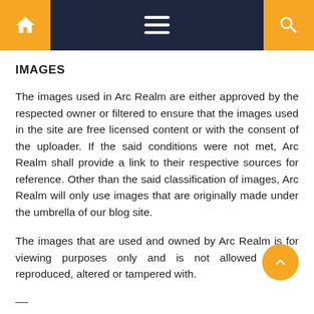[Figure (screenshot): Navigation bar with dark navy background. Left orange block with home icon, center hamburger menu icon, right orange block with search icon.]
IMAGES
The images used in Arc Realm are either approved by the respected owner or filtered to ensure that the images used in the site are free licensed content or with the consent of the uploader. If the said conditions were not met, Arc Realm shall provide a link to their respective sources for reference. Other than the said classification of images, Arc Realm will only use images that are originally made under the umbrella of our blog site.
The images that are used and owned by Arc Realm is for viewing purposes only and is not allowed to be reproduced, altered or tampered with.
—